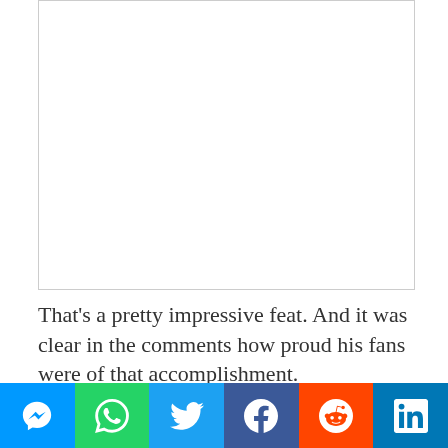[Figure (photo): Empty white image placeholder box with light border]
That's a pretty impressive feat. And it was clear in the comments how proud his fans were of that accomplishment.
He also shared when his song “Din” with Nicki Minaj
This website uses cookies to ensure you get the best experience on our website. Learn more
I AGREE 🍪
[Figure (infographic): Social share bar with Messenger, WhatsApp, Twitter, Facebook, Reddit, LinkedIn buttons]